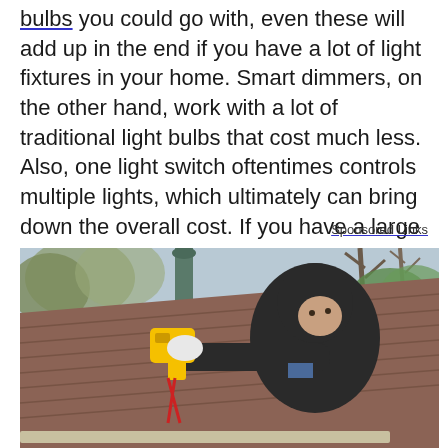bulbs you could go with, even these will add up in the end if you have a lot of light fixtures in your home. Smart dimmers, on the other hand, work with a lot of traditional light bulbs that cost much less. Also, one light switch oftentimes controls multiple lights, which ultimately can bring down the overall cost. If you have a large home or lots of lights, it's definitely worth considering.
Sponsored Links
[Figure (photo): A person wearing a dark hoodie working on a roof, holding a yellow power tool (appears to be a drill or similar device), with brown/grey shingles visible and bare trees in the background.]